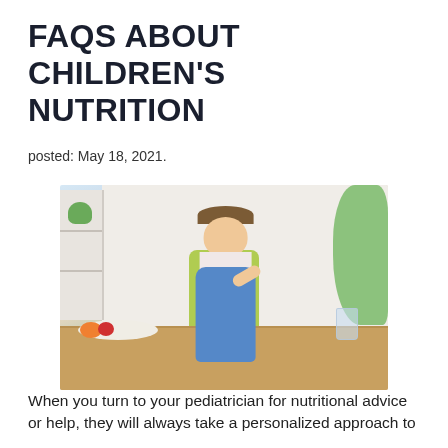FAQS ABOUT CHILDREN'S NUTRITION
posted: May 18, 2021.
[Figure (photo): A smiling young girl with pigtails sitting at a table eating with a spoon, wearing denim overalls, with a plate of fruit and a glass of water in front of her, in a bright room with shelving and plants in the background.]
When you turn to your pediatrician for nutritional advice or help, they will always take a personalized approach to